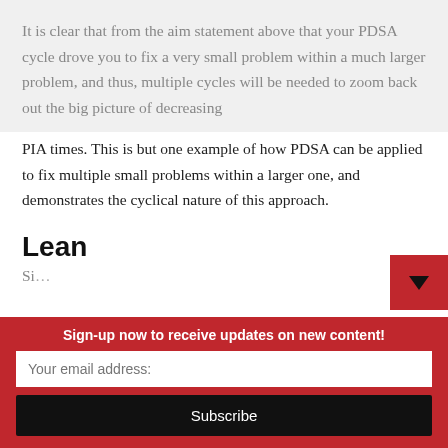It is clear that from the aim statement above that your PDSA cycle drove you to fix a very small problem within a much larger problem, and thus, multiple cycles will be needed to zoom back out the big picture of decreasing PIA times. This is but one example of how PDSA can be applied to fix multiple small problems within a larger one, and demonstrates the cyclical nature of this approach.
Lean
[truncated text continues below]
Sign-up now to receive updates on new content!
Your email address:
Subscribe